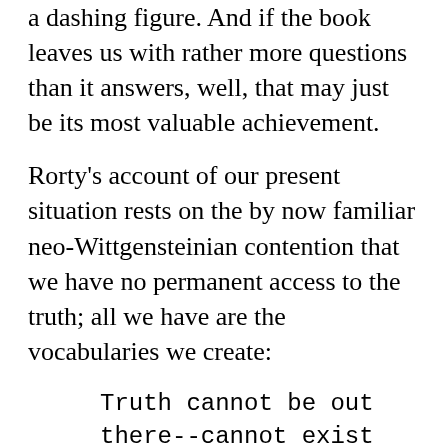a dashing figure. And if the book leaves us with rather more questions than it answers, well, that may just be its most valuable achievement.
Rorty's account of our present situation rests on the by now familiar neo-Wittgensteinian contention that we have no permanent access to the truth; all we have are the vocabularies we create:
Truth cannot be out there--cannot exist independently of the human mind--because sentences cannot so exist, or be out there. The world is out there, but descriptions of the world are not. Only